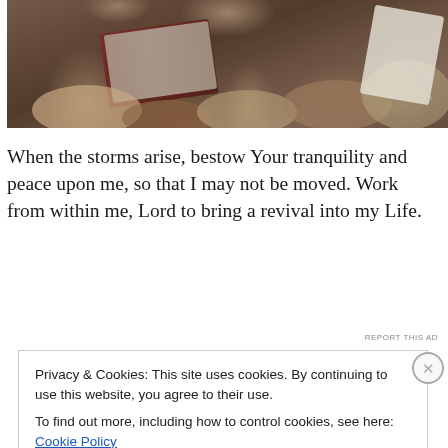[Figure (photo): Overhead view of multiple people with hands clasped in prayer around a table with open Bibles]
When the storms arise, bestow Your tranquility and peace upon me, so that I may not be moved. Work from within me, Lord to bring a revival into my Life.
[Figure (other): Blue advertisement banner partially visible]
REPORT THIS AD
Privacy & Cookies: This site uses cookies. By continuing to use this website, you agree to their use.
To find out more, including how to control cookies, see here: Cookie Policy